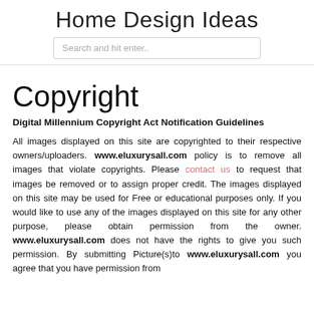Home Design Ideas
[Figure (other): Search bar with placeholder text 'Search and hit enter..']
Copyright
Digital Millennium Copyright Act Notification Guidelines
All images displayed on this site are copyrighted to their respective owners/uploaders. www.eluxurysall.com policy is to remove all images that violate copyrights. Please contact us to request that images be removed or to assign proper credit. The images displayed on this site may be used for Free or educational purposes only. If you would like to use any of the images displayed on this site for any other purpose, please obtain permission from the owner. www.eluxurysall.com does not have the rights to give you such permission. By submitting Picture(s)to www.eluxurysall.com you agree that you have permission from